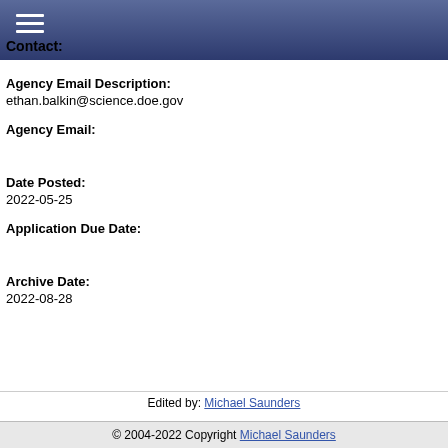Contact:
Agency Email Description:
ethan.balkin@science.doe.gov
Agency Email:
Date Posted:
2022-05-25
Application Due Date:
Archive Date:
2022-08-28
Edited by: Michael Saunders
© 2004-2022 Copyright Michael Saunders